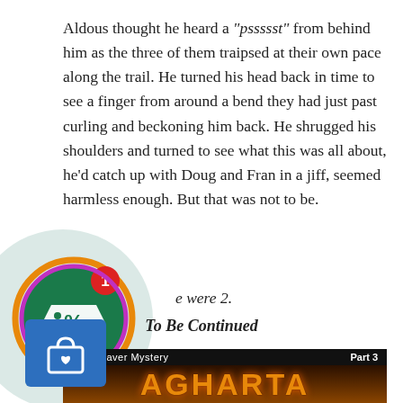Aldous thought he heard a "pssssst" from behind him as the three of them traipsed at their own pace along the trail. He turned his head back in time to see a finger from around a bend they had just past curling and beckoning him back. He shrugged his shoulders and turned to see what this was all about, he'd catch up with Doug and Fran in a jiff, seemed harmless enough. But that was not to be.
[Figure (illustration): A discount/coupon icon overlay with a teal circular background, a green tag badge with percent symbol and a red notification badge showing '1']
e were 2.
To Be Continued
[Figure (illustration): Book cover image for 'The Shaver Mystery Part 3 - AGHARTA' with dark background and glowing orange/gold title text]
[Figure (illustration): Blue shopping bag icon button in the lower left corner]